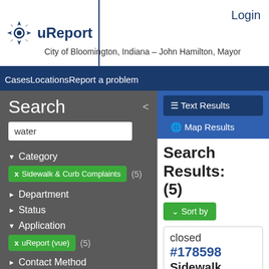uReport | Login | City of Bloomington, Indiana – John Hamilton, Mayor
CasesLocationsReport a problem
Search
water
▼ Category
× Sidewalk & Curb Complaints (5)
► Department
► Status
▼ Application
× uReport (vue) (5)
► Contact Method
► Neighborhood Association
≡ Text Results
🌐 Map Results
Search Results: (5)
∨ Sort by
closed
#178598
Sidewalk & Curb Comp...